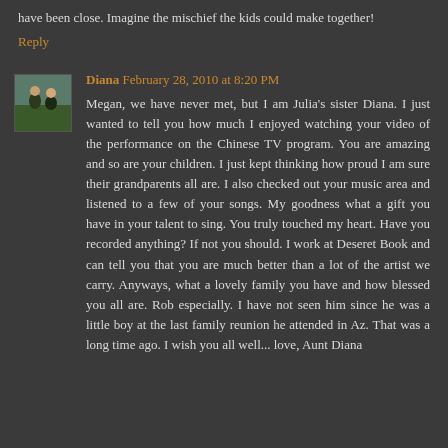have been close. Imagine the mischief the kids could make together!
Reply
Diana February 28, 2010 at 8:20 PM
Megan, we have never met, but I am Julia's sister Diana. I just wanted to tell you how much I enjoyed watching your video of the performance on the Chinese TV program. You are amazing and so are your children. I just kept thinking how proud I am sure their grandparents all are. I also checked out your music area and listened to a few of your songs. My goodness what a gift you have in your talent to sing. You truly touched my heart. Have you recorded anything? If not you should. I work at Deseret Book and can tell you that you are much better than a lot of the artist we carry. Anyways, what a lovely family you have and how blessed you all are. Rob especially. I have not seen him since he was a little boy at the last family reunion he attended in Az. That was a long time ago. I wish you all well... love, Aunt Diana